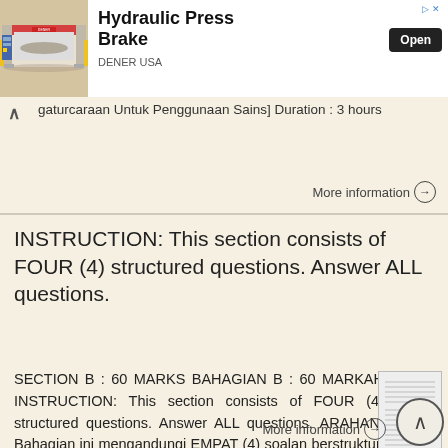[Figure (photo): Advertisement banner for Hydraulic Press Brake by DENER USA. Left side shows a photo of a large industrial hydraulic press brake machine. Right side shows the text 'Hydraulic Press Brake', brand 'DENER USA', and an 'Open' button.]
gaturcaraan Untuk Penggunaan Sains] Duration : 3 hours
More information →
INSTRUCTION: This section consists of FOUR (4) structured questions. Answer ALL questions.
SECTION B : 60 MARKS BAHAGIAN B : 60 MARKAH INSTRUCTION: This section consists of FOUR (4) structured questions. Answer ALL questions. ARAHAN: Bahagian ini mengandungi EMPAT (4) soalan berstruktur. Jawab
More information →